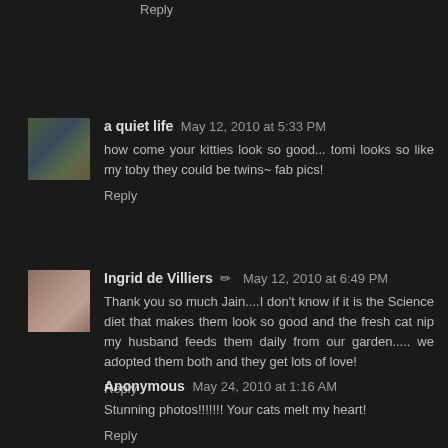Reply
a quiet life  May 12, 2010 at 5:33 PM
how come your kitties look so good... tomi looks so like my toby they could be twins~ fab pics!
Reply
Ingrid de Villiers  May 12, 2010 at 6:49 PM
Thank you so much Jain....I don't know if it is the Science diet that makes them look so good and the fresh cat nip my husband feeds them daily from our garden..... we adopted them both and they get lots of love!
Reply
Anonymous  May 24, 2010 at 1:16 AM
Stunning photos!!!!!!! Your cats melt my heart!
Reply